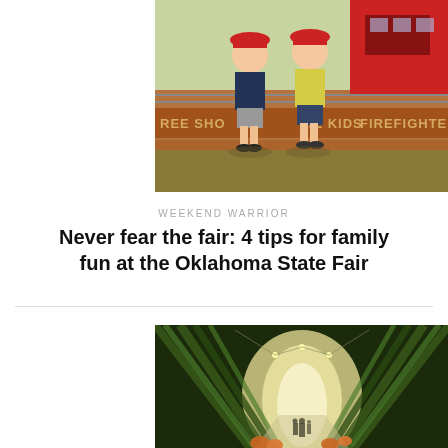[Figure (photo): Two young boys wearing red firefighter hats standing in front of a red fire truck at a fair. A banner behind them reads 'FREE SHOW', 'THE KIDS', 'FIREFIGHTE'. Sunny outdoor setting.]
WEEKEND WARRIOR
Never fear the fair: 4 tips for family fun at the Oklahoma State Fair
[Figure (photo): A tunnel made of tall bamboo stalks arching overhead forming a natural canopy. A bright light glows at the end of the tunnel. A family silhouette stands in the distance. Pumpkins line the path.]